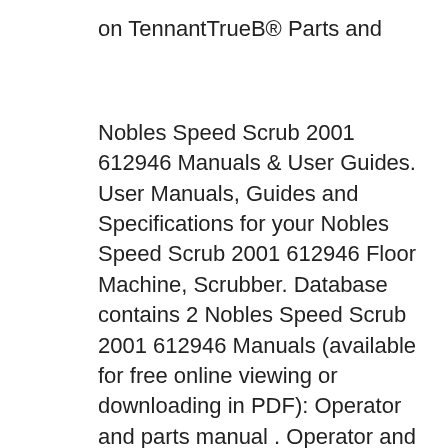on TennantTrueB® Parts and
Nobles Speed Scrub 2001 612946 Manuals & User Guides. User Manuals, Guides and Specifications for your Nobles Speed Scrub 2001 612946 Floor Machine, Scrubber. Database contains 2 Nobles Speed Scrub 2001 612946 Manuals (available for free online viewing or downloading in PDF): Operator and parts manual . Operator and Parts Manual Manual del Operador y Piezas Automatic Floor Scrubber Fregadora AutomГŸtica Model No.: 612214 612086 - Complete 614364 - FaST 614363 - FaST Complete 612816 Rev. 02 (09-04) Speed Scrubt 2001HD The safe scrubbing alternativer B®